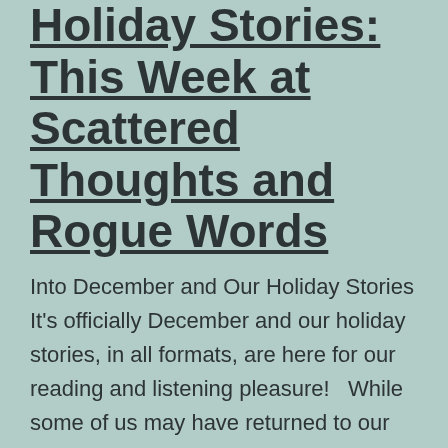Holiday Stories: This Week at Scattered Thoughts and Rogue Words
Into December and Our Holiday Stories It's officially December and our holiday stories, in all formats, are here for our reading and listening pleasure!   While some of us may have returned to our comfort reads this holiday season, there are plenty of wonderful new stories out there to add to your reading festive list!... Continue reading